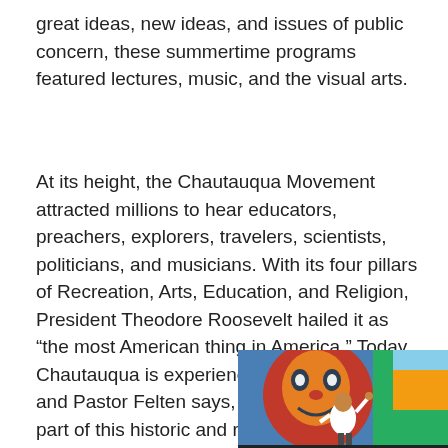great ideas, new ideas, and issues of public concern, these summertime programs featured lectures, music, and the visual arts.
At its height, the Chautauqua Movement attracted millions to hear educators, preachers, explorers, travelers, scientists, politicians, and musicians. With its four pillars of Recreation, Arts, Education, and Religion, President Theodore Roosevelt hailed it as “the most American thing in America.” Today, Chautauqua is experiencing a renaissance and Pastor Felten says, “It’s an honor to be a part of this historic and respected movement.”
[Figure (photo): A person in a white shirt standing in front of a large colorful mural featuring a large face, raising one hand, photographed from below against an urban backdrop.]